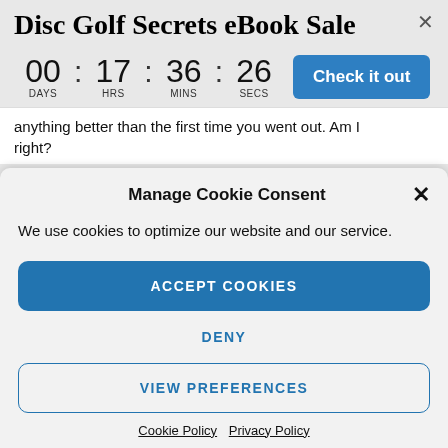Disc Golf Secrets eBook Sale
00 : 17 : 36 : 26  DAYS  HRS  MINS  SECS  Check it out
anything better than the first time you went out. Am I right?
Manage Cookie Consent
We use cookies to optimize our website and our service.
ACCEPT COOKIES
DENY
VIEW PREFERENCES
Cookie Policy  Privacy Policy